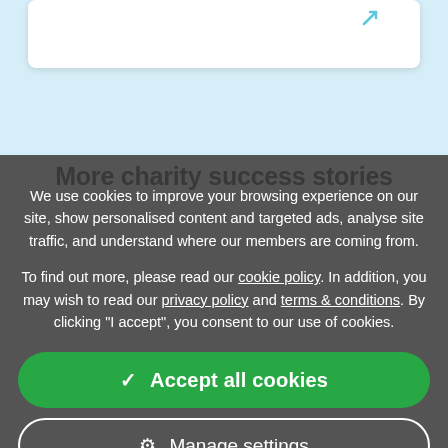[Figure (screenshot): Top of webpage showing a white card with a teal arrow icon on a light blue background]
More charity success stories
We use cookies to improve your browsing experience on our site, show personalised content and targeted ads, analyse site traffic, and understand where our members are coming from.
To find out more, please read our cookie policy. In addition, you may wish to read our privacy policy and terms & conditions. By clicking "I accept", you consent to our use of cookies.
✓ Accept all cookies
⚙ Manage settings